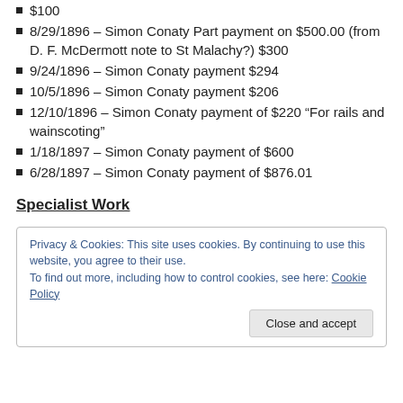$100
8/29/1896 – Simon Conaty Part payment on $500.00 (from D. F. McDermott note to St Malachy?) $300
9/24/1896 – Simon Conaty payment $294
10/5/1896 – Simon Conaty payment $206
12/10/1896 – Simon Conaty payment of $220 “For rails and wainscoting”
1/18/1897 – Simon Conaty payment of $600
6/28/1897 – Simon Conaty payment of $876.01
Specialist Work
Privacy & Cookies: This site uses cookies. By continuing to use this website, you agree to their use.
To find out more, including how to control cookies, see here: Cookie Policy